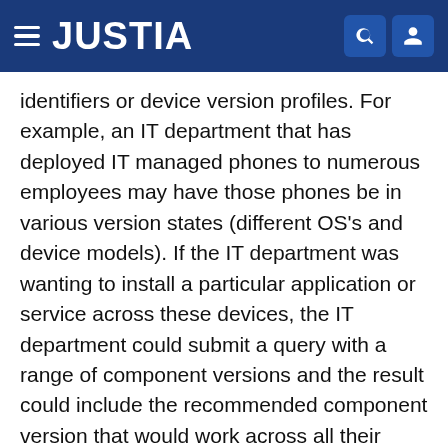JUSTIA
identifiers or device version profiles. For example, an IT department that has deployed IT managed phones to numerous employees may have those phones be in various version states (different OS's and device models). If the IT department was wanting to install a particular application or service across these devices, the IT department could submit a query with a range of component versions and the result could include the recommended component version that would work across all their deployed devices.
The query request, in one implementation, can be the same transmission used to provide a device version profile of a device instance as shown in FIG. 4. For example, a device may transmit operating system version information and in response, receive the capability results. This on-demand providing and